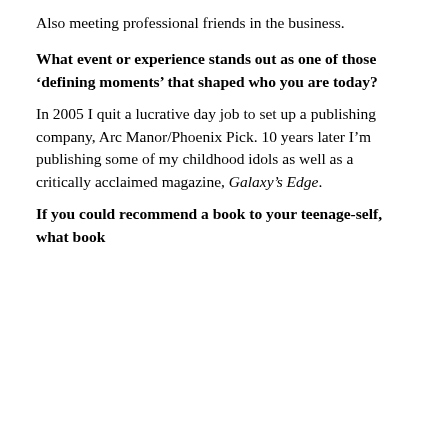Also meeting professional friends in the business.
What event or experience stands out as one of those ‘defining moments’ that shaped who you are today?
In 2005 I quit a lucrative day job to set up a publishing company, Arc Manor/Phoenix Pick. 10 years later I’m publishing some of my childhood idols as well as a critically acclaimed magazine, Galaxy’s Edge.
If you could recommend a book to your teenage-self, what book